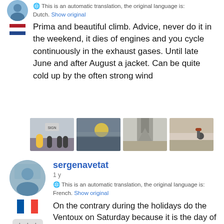[Figure (illustration): Dutch flag icon below user avatar (partial avatar visible at top)]
This is an automatic translation, the original language is: Dutch. Show original
Prima and beautiful climb. Advice, never do it in the weekend, it dies of engines and you cycle continuously in the exhaust gases. Until late June and after August a jacket. Can be quite cold up by the often strong wind
[Figure (photo): Four thumbnail cycling/mountain photos in a row]
[Figure (photo): Avatar of user sergenavetat with French flag and three star rating]
sergenavetat
1 y
This is an automatic translation, the original language is: French. Show original
On the contrary during the holidays do the Ventoux on Saturday because it is the day of the crossings on the roads and there are much less people on the